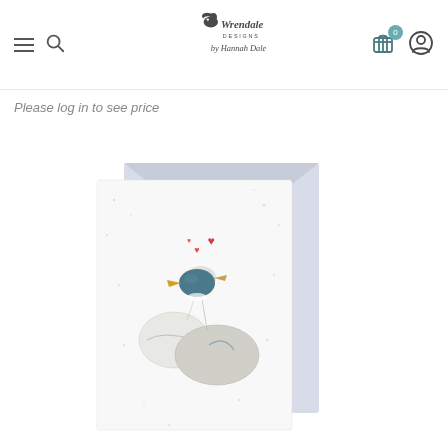Wrendale Designs by Hannah Dale
Please log in to see price
[Figure (photo): Product photo of a Wrendale Designs greeting card featuring two ducks kissing with small red hearts above them, shown with a light purple/blue envelope behind the card, on a white background.]